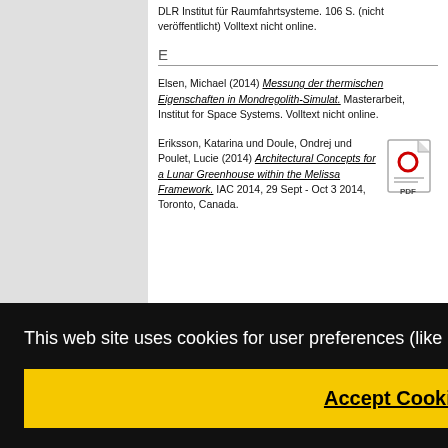DLR Institut für Raumfahrtsysteme. 106 S. (nicht veröffentlicht) Volltext nicht online.
E
Elsen, Michael (2014) Messung der thermischen Eigenschaften in Mondregolith-Simulat. Masterarbeit, Institut for Space Systems. Volltext nicht online.
Eriksson, Katarina und Doule, Ondrej und Poulet, Lucie (2014) Architectural Concepts for a Lunar Greenhouse within the Melissa Framework. IAC 2014, 29 Sept - Oct 3 2014, Toronto, Canada.
This web site uses cookies for user preferences (like language) and session login.  Privacy Policy
Accept Cookies
und Schubert, D. und Houdt, R. Van